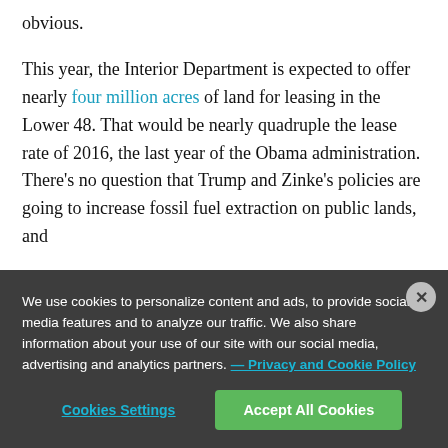obvious.
This year, the Interior Department is expected to offer nearly four million acres of land for leasing in the Lower 48. That would be nearly quadruple the lease rate of 2016, the last year of the Obama administration. There’s no question that Trump and Zinke’s policies are going to increase fossil fuel extraction on public lands, and
We use cookies to personalize content and ads, to provide social media features and to analyze our traffic. We also share information about your use of our site with our social media, advertising and analytics partners. — Privacy and Cookie Policy
Cookies Settings
Accept All Cookies